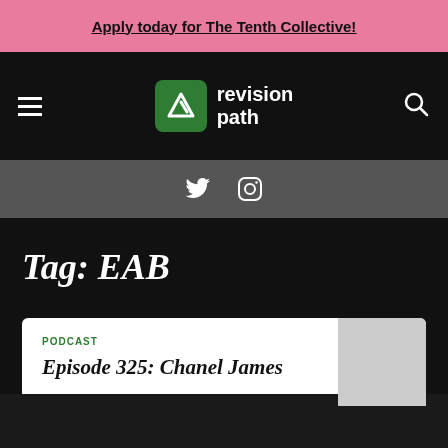Apply today for The Tenth Collective!
[Figure (logo): Revision Path logo with green icon and white text]
Twitter and Instagram social icons
Tag: EAB
PODCAST
Episode 325: Chanel James